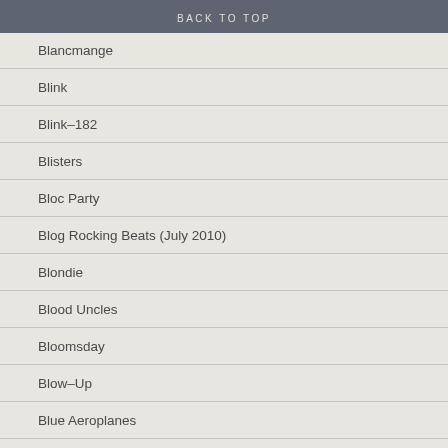BACK TO TOP
Blancmange
Blink
Blink–182
Blisters
Bloc Party
Blog Rocking Beats (July 2010)
Blondie
Blood Uncles
Bloomsday
Blow–Up
Blue Aeroplanes
Blue Nile
Bluebells